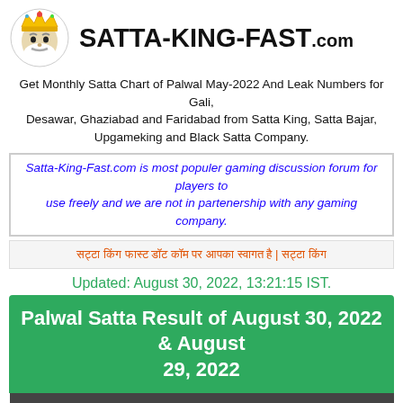[Figure (logo): Satta-King-Fast.com logo with crown and king face illustration]
SATTA-KING-FAST.com
Get Monthly Satta Chart of Palwal May-2022 And Leak Numbers for Gali, Desawar, Ghaziabad and Faridabad from Satta King, Satta Bajar, Upgameking and Black Satta Company.
Satta-King-Fast.com is most populer gaming discussion forum for players to use freely and we are not in partenership with any gaming company.
सट्टा किंग फास्ट डॉट कॉम पर आपका स्वागत है | सट्टा किंग
Updated: August 30, 2022, 13:21:15 IST.
Palwal Satta Result of August 30, 2022 & August 29, 2022
| Quick Result Board | Tue. 30th | Mon. 29th |
| --- | --- | --- |
| PALWAL
at 10:20 PM  This Month Chart | XX | Refresh |